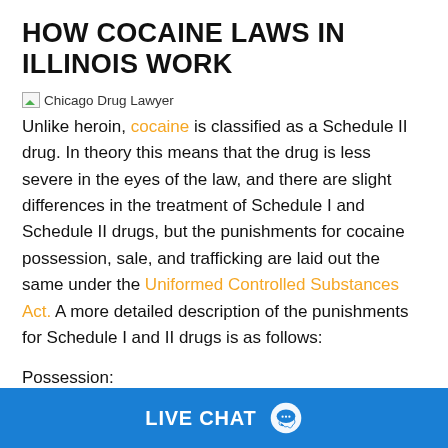HOW COCAINE LAWS IN ILLINOIS WORK
[Figure (photo): Chicago Drug Lawyer image placeholder]
Unlike heroin, cocaine is classified as a Schedule II drug. In theory this means that the drug is less severe in the eyes of the law, and there are slight differences in the treatment of Schedule I and Schedule II drugs, but the punishments for cocaine possession, sale, and trafficking are laid out the same under the Uniformed Controlled Substances Act. A more detailed description of the punishments for Schedule I and II drugs is as follows:
Possession:
<15 grams: Class 4 felony, 1-3 years in prison or a fine of